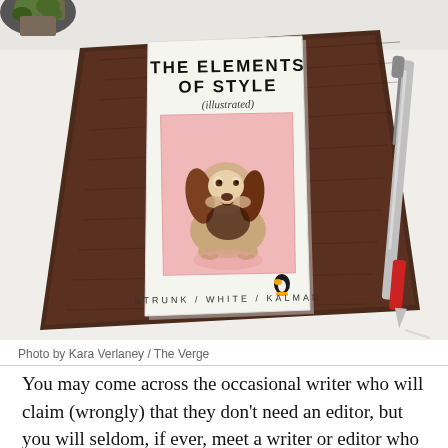[Figure (photo): A photo showing 'The Elements of Style (illustrated)' book by Strunk / White / Kalman, placed on a dark brown leather notebook/folder on a white surface. The book cover features an illustrated basset hound on a pink background. A pen is visible to the right. A plant is partially visible in the top left corner.]
Photo by Kara Verlaney / The Verge
You may come across the occasional writer who will claim (wrongly) that they don't need an editor, but you will seldom, if ever, meet a writer or editor who will say they don't need a copy editor.